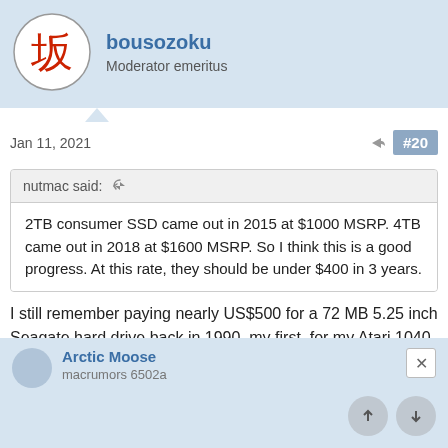bousozoku
Moderator emeritus
Jan 11, 2021
#20
nutmac said:
2TB consumer SSD came out in 2015 at $1000 MSRP. 4TB came out in 2018 at $1600 MSRP. So I think this is a good progress. At this rate, they should be under $400 in 3 years.
I still remember paying nearly US$500 for a 72 MB 5.25 inch Seagate hard drive back in 1990, my first, for my Atari 1040 ST.
Arctic Moose
macrumors 6502a